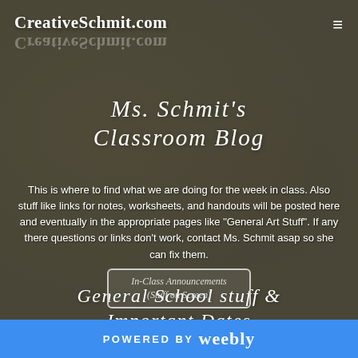CreativeSchmit.com
Ms. Schmit's Classroom Blog
This is where to find what we are doing for the week in class. Also stuff like links for notes, worksheets, and handouts will be posted here and eventually in the appropriate pages like "General Art Stuff". If any there questions or links don't work, contact Ms. Schmit asap so she can fix them.
General School stuff & Important Dates
In-Class Announcements (Stuff on Screen)
POWERED BY weebly